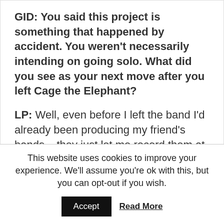GID: You said this project is something that happened by accident. You weren't necessarily intending on going solo. What did you see as your next move after you left Cage the Elephant?
LP: Well, even before I left the band I'd already been producing my friend's bands – they just let me record them at the time. We had this laundry closet set up in a townhouse I was renting. So, I was recording them and I produced their album. And I
This website uses cookies to improve your experience. We'll assume you're ok with this, but you can opt-out if you wish.